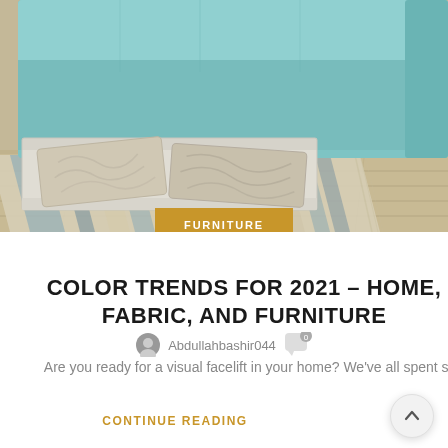[Figure (photo): Photo of a teal/light blue sofa with storage drawers open underneath, revealing pillows stored inside. A striped rug is on a hardwood floor below the sofa.]
FURNITURE
COLOR TRENDS FOR 2021 – HOME, FABRIC, AND FURNITURE
Abdullahbashir044
Are you ready for a visual facelift in your home? We've all spent s...
CONTINUE READING